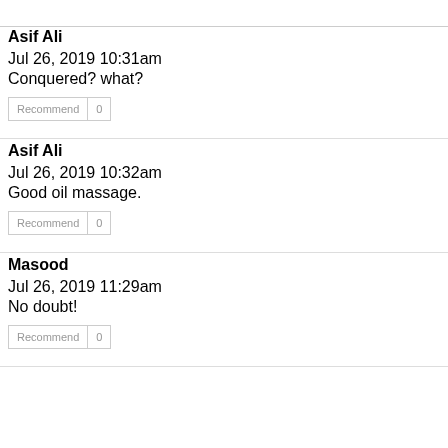Asif Ali
Jul 26, 2019 10:31am
Conquered? what?
Asif Ali
Jul 26, 2019 10:32am
Good oil massage.
Masood
Jul 26, 2019 11:29am
No doubt!